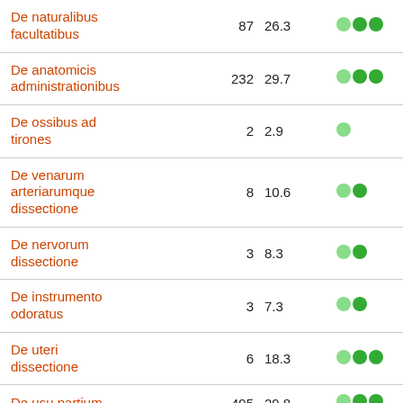| Work | Count | Percent | Rating |
| --- | --- | --- | --- |
| De naturalibus facultatibus | 87 | 26.3 | ●●● |
| De anatomicis administrationibus | 232 | 29.7 | ●●● |
| De ossibus ad tirones | 2 | 2.9 | ● |
| De venarum arteriarumque dissectione | 8 | 10.6 | ●● |
| De nervorum dissectione | 3 | 8.3 | ●● |
| De instrumento odoratus | 3 | 7.3 | ●● |
| De uteri dissectione | 6 | 18.3 | ●●● |
| De usu partium | 495 | 29.8 | ●●● |